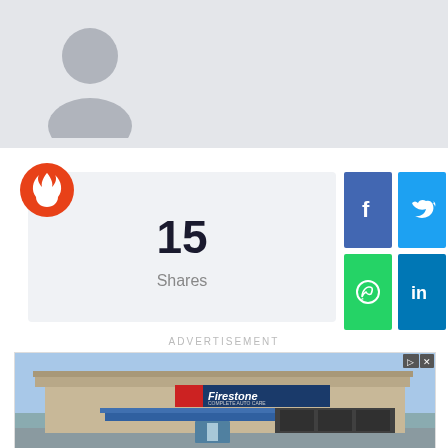[Figure (illustration): Grey silhouette profile avatar placeholder image on light grey background]
[Figure (infographic): Share count widget showing 15 Shares with orange flame icon and social media share buttons (Facebook, Twitter, WhatsApp, LinkedIn)]
15
Shares
ADVERTISEMENT
[Figure (photo): Firestone Complete Auto Care store exterior photo showing beige brick building with Firestone signage and blue awnings]